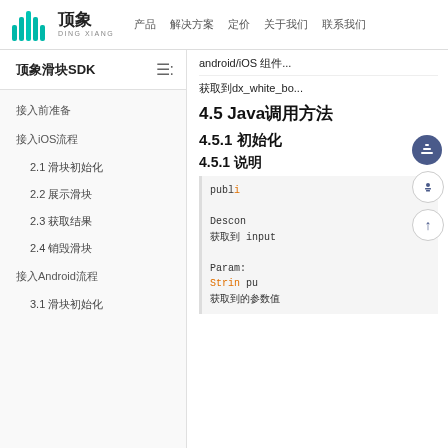顶象 DING XIANG — 产品 解决方案 定价 关于我们 联系我们
顶象滑块SDK
接入前准备
接入iOS流程
2.1 滑块初始化
2.2 展示滑块
2.3 获取结果
2.4 销毁滑块
接入Android流程
3.1 滑块初始化
android/iOS 组件...
获取到dx_white_bo...
4.5 Java调用方法
4.5.1 初始化
4.5.1 说明
public int DXCaptcha init...
Description: 方法说明 input参数...
Parameters: String put... 获取到的参数值...